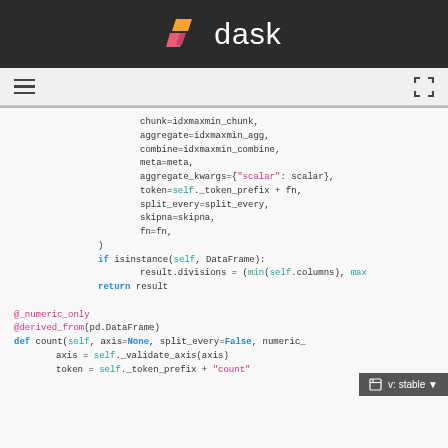dask
[Figure (screenshot): Python source code from the dask library showing a function continuation with parameters chunk, aggregate, combine, meta, aggregate_kwargs, token, split_every, skipna, fn, followed by if isinstance check and return statement, then decorators @_numeric_only and @derived_from(pd.DataFrame) and def count(self, axis=None, split_every=False, numeric_...) with axis and token assignments]
v: stable